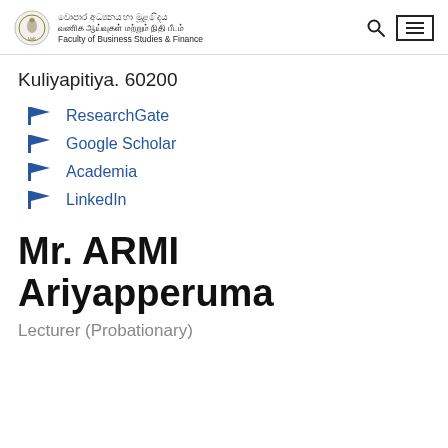Faculty of Business Studies & Finance — Kuliyapitiya. 60200
Kuliyapitiya. 60200
ResearchGate
Google Scholar
Academia
LinkedIn
Mr. ARMI Ariyapperuma
Lecturer (Probationary)